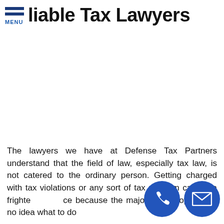liable Tax Lawyers MENU
The lawyers we have at Defense Tax Partners understand that the field of law, especially tax law, is not catered to the ordinary person. Getting charged with tax violations or any sort of tax problem can be a frightening experience because the majority of people have no idea what to do